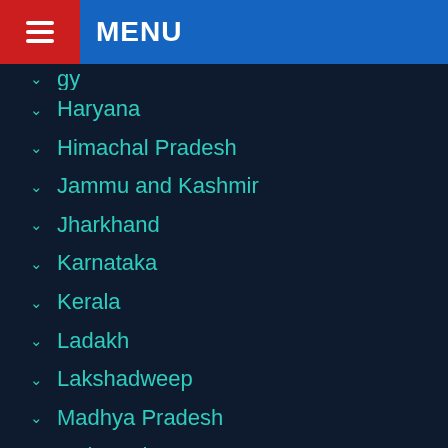MENU
Haryana
Himachal Pradesh
Jammu and Kashmir
Jharkhand
Karnataka
Kerala
Ladakh
Lakshadweep
Madhya Pradesh
Maharashtra
Manipur
Meghalaya
Mizoram
Nagaland
Odisha
Pondicherry
Punjab
Rajasthan